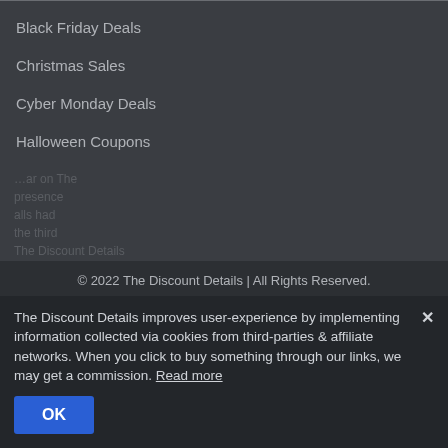Black Friday Deals
Christmas Sales
Cyber Monday Deals
Halloween Coupons
Labor Day Deals And Coupon Codes
© 2022 The Discount Details | All Rights Reserved.
The Discount Details improves user-experience by implementing information collected via cookies from third-parties & affiliate networks. When you click to buy something through our links, we may get a commission. Read more
OK